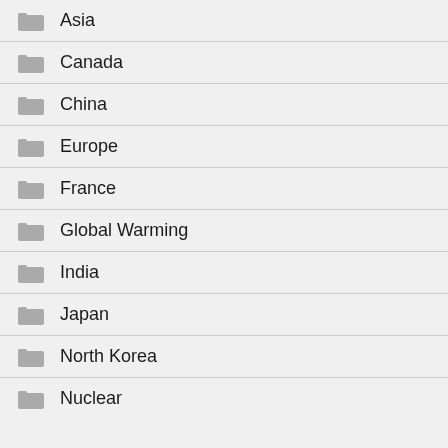Asia
Canada
China
Europe
France
Global Warming
India
Japan
North Korea
Nuclear